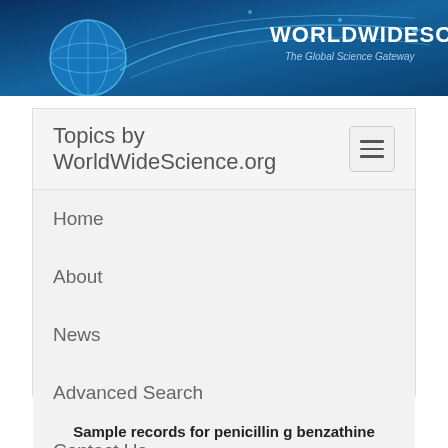[Figure (screenshot): WorldWideScience.org header banner with globe graphic and swirling lines on dark blue background, with site name and tagline 'The Global Science Gateway']
Topics by WorldWideScience.org
Home
About
News
Advanced Search
Contact Us
Site Map
Help
Sample records for penicillin g benzathine